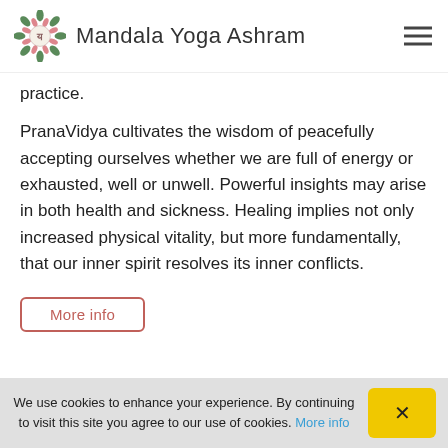Mandala Yoga Ashram
practice.
PranaVidya cultivates the wisdom of peacefully accepting ourselves whether we are full of energy or exhausted, well or unwell. Powerful insights may arise in both health and sickness. Healing implies not only increased physical vitality, but more fundamentally, that our inner spirit resolves its inner conflicts.
More info
We use cookies to enhance your experience. By continuing to visit this site you agree to our use of cookies. More info